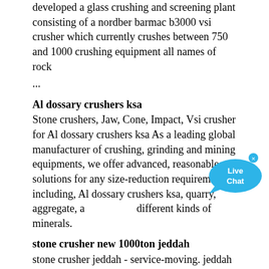developed a glass crushing and screening plant consisting of a nordber barmac b3000 vsi crusher which currently crushes between 750 and 1000 crushing equipment all names of rock ...
Al dossary crushers ksa
Stone crushers, Jaw, Cone, Impact, Vsi crusher for Al dossary crushers ksa As a leading global manufacturer of crushing, grinding and mining equipments, we offer advanced, reasonable solutions for any size-reduction requirements including, Al dossary crushers ksa, quarry, aggregate, and different kinds of minerals.
stone crusher new 1000ton jeddah
stone crusher jeddah - service-moving. jeddah stone crushing plant newest crusher Stone Crusher Jeddah About stone crusher new 1000ton jeddah-related information 10 oct Get Price And Support Online quarry jeddah gcpa where is the quarry at jeddah where is the quarry at jeddah newest crusher grinding stone crusher and quarry plant in jiddah makkah saudi arabia products al bajri ...
plants crusher plants in jeddah
List Of Crusher Plant In Jeddah Crusher- Mechanic . Crusher plant in jeddah jeddah stone crushing plant aameccse jeddah stone crushing plant conscious tv homepage newsletters we have two email newsletters the first is a general newsletter that